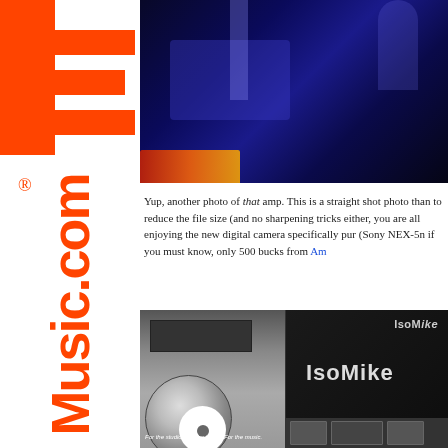[Figure (photo): Photo of an amplifier with blue lighting and orange/red glowing accents at bottom left]
Yup, another photo of that amp. This is a straight shot photo than to reduce the file size (and no sharpening tricks either, you are all enjoying the new digital camera specifically pur (Sony NEX-5n if you must know, only 500 bucks from Am
[Figure (photo): Photo of IsoMike audio equipment including a CD player on the left and IsoMike branded display/monitor on the right with equipment below]